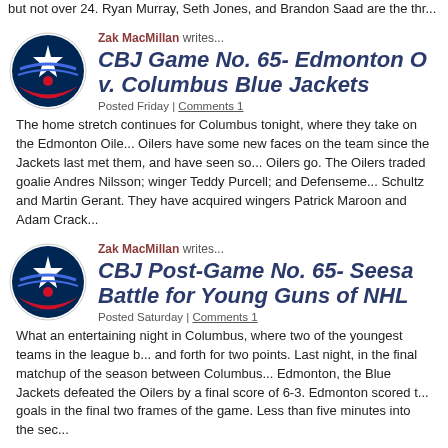but not over 24. Ryan Murray, Seth Jones, and Brandon Saad are the thr...
Zak MacMillan writes...
CBJ Game No. 65- Edmonton O v. Columbus Blue Jackets
Posted Friday | Comments 1
The home stretch continues for Columbus tonight, where they take on the Edmonton Oile... Oilers have some new faces on the team since the Jackets last met them, and have seen so... Oilers go. The Oilers traded goalie Andres Nilsson; winger Teddy Purcell; and Defenseme... Schultz and Martin Gerant. They have acquired wingers Patrick Maroon and Adam Crack...
Zak MacMillan writes...
CBJ Post-Game No. 65- Seesaw Battle for Young Guns of NHL
Posted Saturday | Comments 1
What an entertaining night in Columbus, where two of the youngest teams in the league b... and forth for two points. Last night, in the final matchup of the season between Columbus... Edmonton, the Blue Jackets defeated the Oilers by a final score of 6-3. Edmonton scored t... goals in the final two frames of the game. Less than five minutes into the sec...
Zak MacMillan writes...
CBJ Game No. 66- Columbus Bl Jackets @ Philadelphia Flyers
Posted Saturday | Comments 2